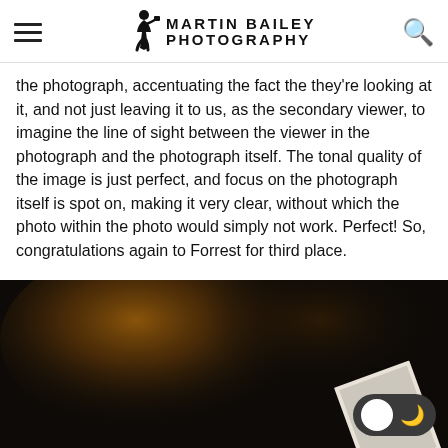Martin Bailey Photography
the photograph, accentuating the fact the they're looking at it, and not just leaving it to us, as the secondary viewer, to imagine the line of sight between the viewer in the photograph and the photograph itself. The tonal quality of the image is just perfect, and focus on the photograph itself is spot on, making it very clear, without which the photo within the photo would simply not work. Perfect! So, congratulations again to Forrest for third place.
[Figure (photo): Dark photograph with warm brown bokeh background, partial view of a white-framed photograph in the lower right corner, suggesting a photo-within-a-photo concept. A dark mode toggle (light/dark) is visible in the lower right.]